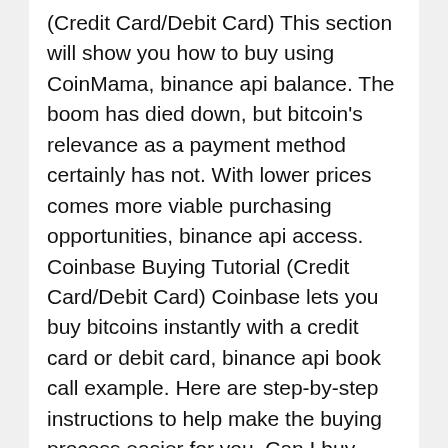(Credit Card/Debit Card) This section will show you how to buy using CoinMama, binance api balance. The boom has died down, but bitcoin's relevance as a payment method certainly has not. With lower prices comes more viable purchasing opportunities, binance api access. Coinbase Buying Tutorial (Credit Card/Debit Card) Coinbase lets you buy bitcoins instantly with a credit card or debit card, binance api book call example. Here are step-by-step instructions to help make the buying process easier for you. Can I buy bitcoin with stolen credit card, binance api 502. This is not possible since you won't pass ID verification. After your account is verified and a purchase is made you will receive your bitcoin within a few minutes, binance api blockfolio. Coinmama is only available in some US states; please see this page for details. If you're thinking